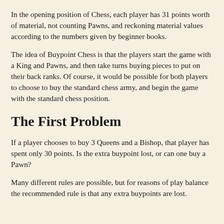In the opening position of Chess, each player has 31 points worth of material, not counting Pawns, and reckoning material values according to the numbers given by beginner books.
The idea of Buypoint Chess is that the players start the game with a King and Pawns, and then take turns buying pieces to put on their back ranks. Of course, it would be possible for both players to choose to buy the standard chess army, and begin the game with the standard chess position.
The First Problem
If a player chooses to buy 3 Queens and a Bishop, that player has spent only 30 points. Is the extra buypoint lost, or can one buy a Pawn?
Many different rules are possible, but for reasons of play balance the recommended rule is that any extra buypoints are lost.